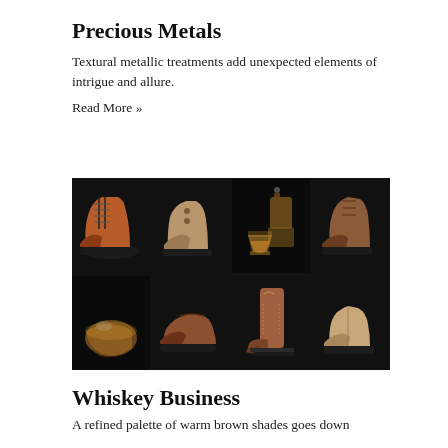Precious Metals
Textural metallic treatments add unexpected elements of intrigue and allure.
Read More »
[Figure (photo): 2x4 grid of product photos on black background: top row shows orange/brown lace-up boot, tan chukka boot, whiskey decanter with glass, brown leather boot; bottom row shows whiskey glass, brown slip-on shoe, cowboy boot, tan ankle boot]
Whiskey Business
A refined palette of warm brown shades goes down